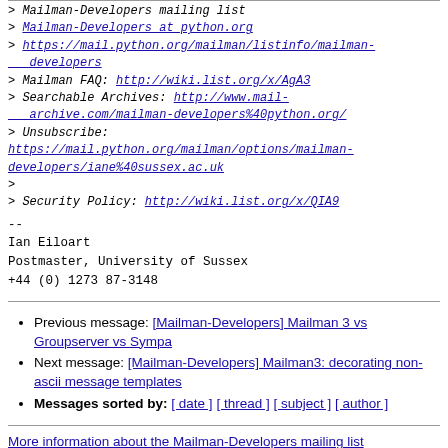> Mailman-Developers mailing list
> Mailman-Developers at python.org
> https://mail.python.org/mailman/listinfo/mailman-developers
> Mailman FAQ: http://wiki.list.org/x/AgA3
> Searchable Archives: http://www.mail-archive.com/mailman-developers%40python.org/
> Unsubscribe:
https://mail.python.org/mailman/options/mailman-developers/iane%40sussex.ac.uk
>
> Security Policy: http://wiki.list.org/x/QIA9
--
Ian Eiloart
Postmaster, University of Sussex
+44 (0) 1273 87-3148
Previous message: [Mailman-Developers] Mailman 3 vs Groupserver vs Sympa
Next message: [Mailman-Developers] Mailman3: decorating non-ascii message templates
Messages sorted by: [ date ] [ thread ] [ subject ] [ author ]
More information about the Mailman-Developers mailing list